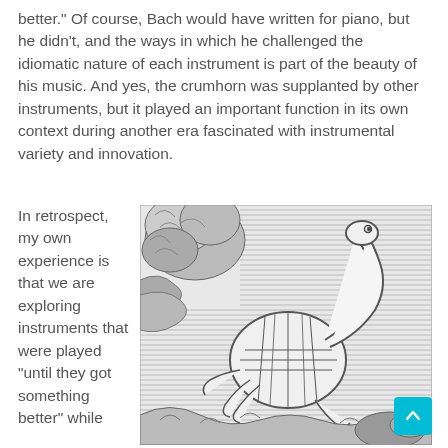better." Of course, Bach would have written for piano, but he didn't, and the ways in which he challenged the idiomatic nature of each instrument is part of the beauty of his music. And yes, the crumhorn was supplanted by other instruments, but it played an important function in its own context during another era fascinated with instrumental variety and innovation.
In retrospect, my own experience is that we are exploring instruments that were played "until they got something better" while
[Figure (illustration): Black and white illustration of a turtle-like creature with a long neck standing in a natural setting with trees and foliage in the background]